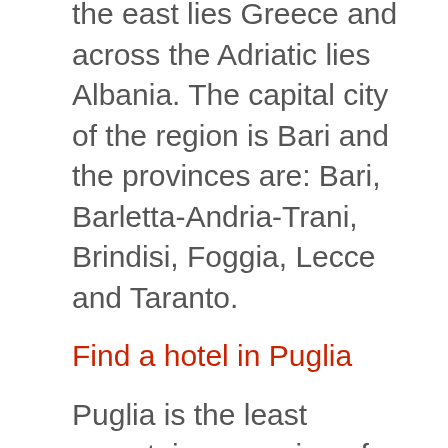the east lies Greece and across the Adriatic lies Albania. The capital city of the region is Bari and the provinces are: Bari, Barletta-Andria-Trani, Brindisi, Foggia, Lecce and Taranto.
Find a hotel in Puglia
Puglia is the least mountainous region of Italy, consisting of broad plains and low-lying hills. The only mountainous areas, the Gargano promontory and the Dauni mountains, do not exceed 1,150 metres and are in the north of the region. The Tremeti Islands, in the Adriatic, are also a part of Puglia. Puglia is a very hot and dry region. There are a few rivers found on the 'Tavoliere delle Pu...